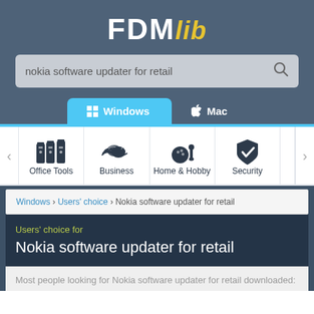[Figure (logo): FDMlib logo with FDM in white bold text and lib in yellow italic]
nokia software updater for retail
Windows  Mac
Office Tools  Business  Home & Hobby  Security
Windows › Users' choice › Nokia software updater for retail
Users' choice for Nokia software updater for retail
Most people looking for Nokia software updater for retail downloaded: